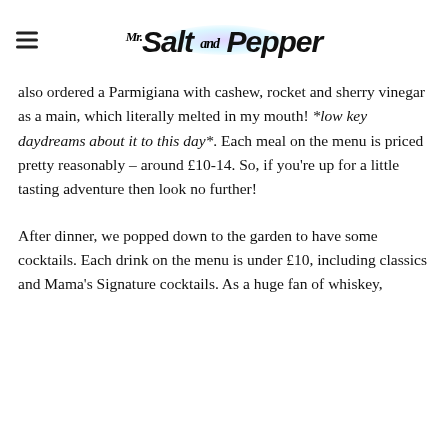Mr. Salt and Pepper (logo / site header with hamburger menu)
also ordered a Parmigiana with cashew, rocket and sherry vinegar as a main, which literally melted in my mouth! *low key daydreams about it to this day*. Each meal on the menu is priced pretty reasonably – around £10-14. So, if you're up for a little tasting adventure then look no further!
After dinner, we popped down to the garden to have some cocktails. Each drink on the menu is under £10, including classics and Mama's Signature cocktails. As a huge fan of whiskey,